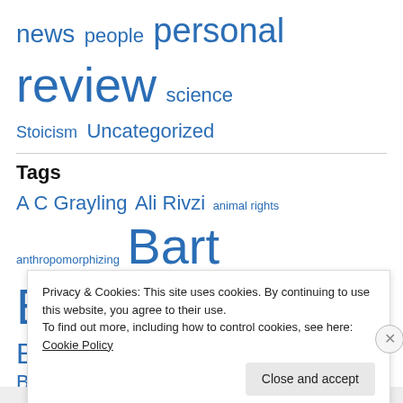news people personal review science Stoicism Uncategorized
Tags
A C Grayling Ali Rivzi animal rights anthropomorphizing Bart Ehrman Ben Goldacre Bertrand Russell big bang Bradley Peter Carl Sagan Christopher Hitchens Cosmic Calendar Dale McGowan death
Privacy & Cookies: This site uses cookies. By continuing to use this website, you agree to their use.
To find out more, including how to control cookies, see here: Cookie Policy
Close and accept